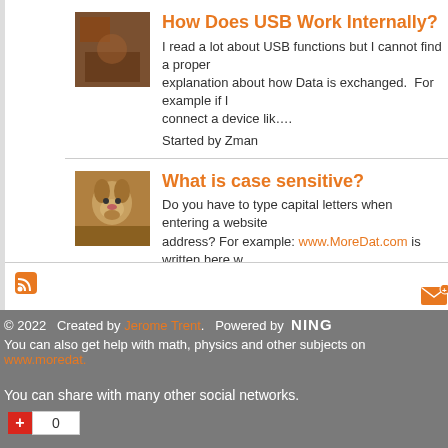How Does USB Work Internally?
I read a lot about USB functions but I cannot find a proper explanation about how Data is exchanged.  For example if I connect a device lik….
Started by Zman
What is case sensitive?
Do you have to type capital letters when entering a website address? For example: www.MoreDat.com is written here w… two capitol letters….
Started by Jerome Trent
[Figure (infographic): RSS feed icon (orange)]
[Figure (infographic): Email/envelope icon (orange) at right side]
© 2022   Created by Jerome Trent.   Powered by  NING
You can also get help with math, physics and other subjects on www.moredat.
You can share with many other social networks.
[Figure (other): + button and 0 count button]